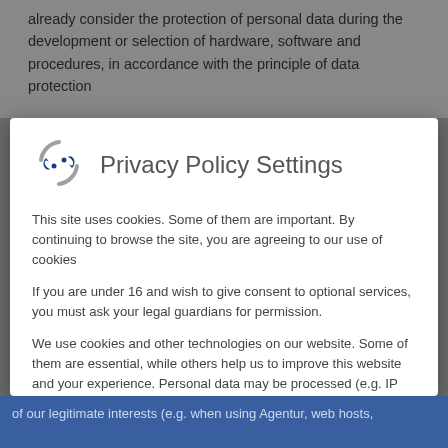already consider the protection of personal data during the development or selection of hardware, software and procedures, in accordance with the principle of data protection
Privacy Policy Settings
This site uses cookies. Some of them are important. By continuing to browse the site, you are agreeing to our use of cookies
If you are under 16 and wish to give consent to optional services, you must ask your legal guardians for permission.
We use cookies and other technologies on our website. Some of them are essential, while others help us to improve this website and your experience. Personal data may be processed (e.g. IP addresses), for example for personalized ads and content or ad and content measurement. You can find more information about the use of your data in our privacy policy. You
essential
external-media
of our legitimate interests (e.g. when using Agentur, web hosts,